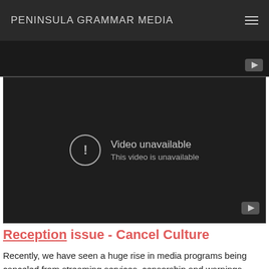PENINSULA GRAMMAR MEDIA
[Figure (screenshot): Dark video player strip at top with YouTube icon in bottom-right corner]
[Figure (screenshot): Embedded YouTube video player showing 'Video unavailable – This video is unavailable' error message with exclamation circle icon, on dark background]
Reception issue - Cancel Culture
Recently, we have seen a huge rise in media programs being canceled from streaming services, censorship and warnings,